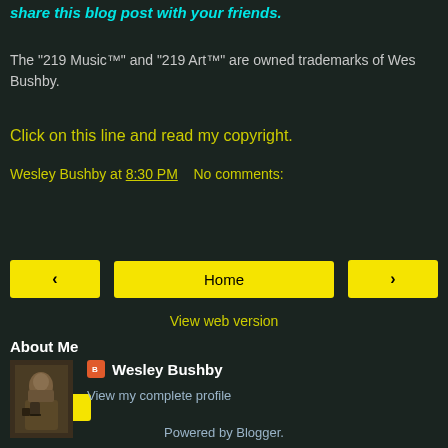share this blog post with your friends.
The "219 Music™" and "219 Art™" are owned trademarks of Wes Bushby.
Click on this line and read my copyright.
Wesley Bushby at 8:30 PM   No comments:
Share
‹
Home
›
View web version
About Me
[Figure (photo): Black and white portrait photo of a person seated with camera equipment]
Wesley Bushby
View my complete profile
Powered by Blogger.